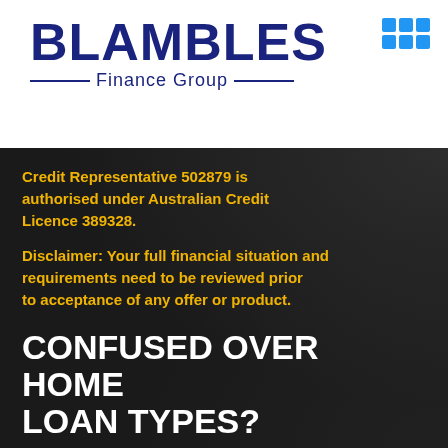[Figure (logo): Blambles Finance Group logo with dark blue bold text and decorative lines around subtitle]
Credit Representative 502879 is authorised under Australian Credit Licence 389328.
Disclaimer: Your full financial situation and requirements need to be reviewed prior to acceptance of any offer or product.
CONFUSED OVER HOME LOAN TYPES?
We made a FREE guide to help you out. Enter your